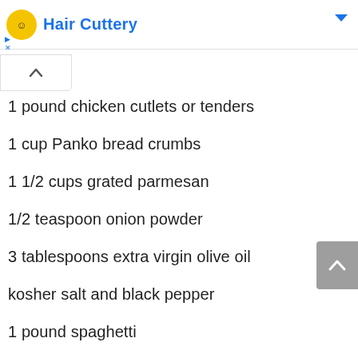Hair Cuttery
1 pound chicken cutlets or tenders
1 cup Panko bread crumbs
1 1/2 cups grated parmesan
1/2 teaspoon onion powder
3 tablespoons extra virgin olive oil
kosher salt and black pepper
1 pound spaghetti
3 cloves garlic, finely chopped or grated
crushed red pepper flakes